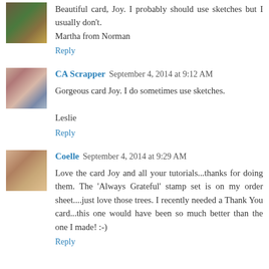[Figure (photo): Small avatar thumbnail of a person outdoors]
Beautiful card, Joy. I probably should use sketches but I usually don't.
Martha from Norman
Reply
[Figure (photo): Small avatar thumbnail of a woman with blonde hair]
CA Scrapper  September 4, 2014 at 9:12 AM
Gorgeous card Joy. I do sometimes use sketches.

Leslie
Reply
[Figure (photo): Small avatar thumbnail of a person]
Coelle  September 4, 2014 at 9:29 AM
Love the card Joy and all your tutorials...thanks for doing them. The 'Always Grateful' stamp set is on my order sheet....just love those trees. I recently needed a Thank You card...this one would have been so much better than the one I made! :-)
Reply